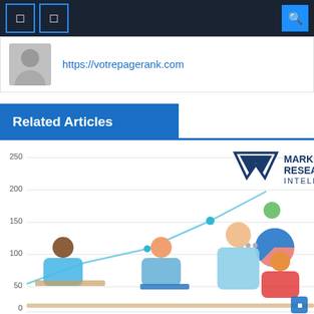Navigation bar with icons and search
https://votrepagerank.com
Related Articles
[Figure (illustration): Market Research Intellect illustration showing business people in a meeting room with a line chart and pie chart in the background, with the Market Research Intellect logo in the top right. Y-axis shows values 0, 50, 100, 150, 200, 250.]